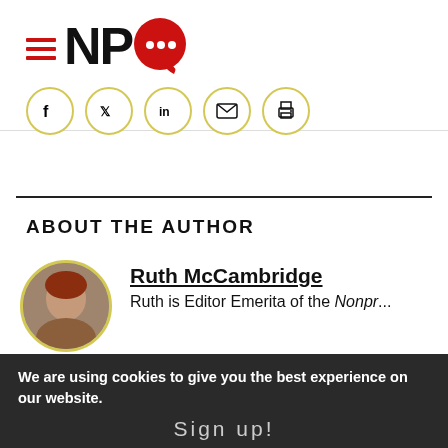NPQ logo with hamburger menu
[Figure (logo): NPQ logo with red hamburger menu lines and red speech bubble with dots for the Q letter]
[Figure (infographic): Social share icons row: Facebook, Twitter, LinkedIn, Email, Print — each in a circle with yellow border]
ABOUT THE AUTHOR
[Figure (photo): Circular headshot of Ruth McCambridge with yellow border]
Ruth McCambridge
Ruth is Editor Emerita of the Nonpr...
We are using cookies to give you the best experience on our website.
Sign up!